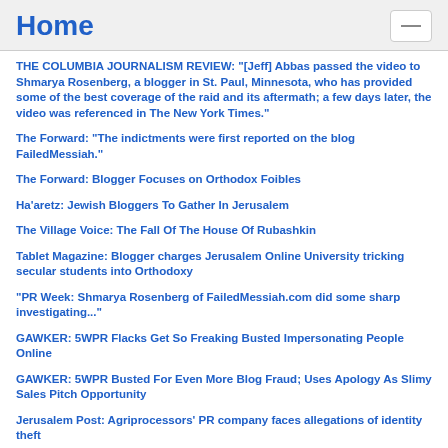Home
THE COLUMBIA JOURNALISM REVIEW: "[Jeff] Abbas passed the video to Shmarya Rosenberg, a blogger in St. Paul, Minnesota, who has provided some of the best coverage of the raid and its aftermath; a few days later, the video was referenced in The New York Times."
The Forward: "The indictments were first reported on the blog FailedMessiah."
The Forward: Blogger Focuses on Orthodox Foibles
Ha'aretz: Jewish Bloggers To Gather In Jerusalem
The Village Voice: The Fall Of The House Of Rubashkin
Tablet Magazine: Blogger charges Jerusalem Online University tricking secular students into Orthodoxy
"PR Week: Shmarya Rosenberg of FailedMessiah.com did some sharp investigating..."
GAWKER: 5WPR Flacks Get So Freaking Busted Impersonating People Online
GAWKER: 5WPR Busted For Even More Blog Fraud; Uses Apology As Slimy Sales Pitch Opportunity
Jerusalem Post: Agriprocessors' PR company faces allegations of identity theft
The Forward: Flacks for Kosher Slaughterhouse Accused of Impersonating Company'’s Critics Online
The Forward: Flacks for Kosher Company Admit Impersonation